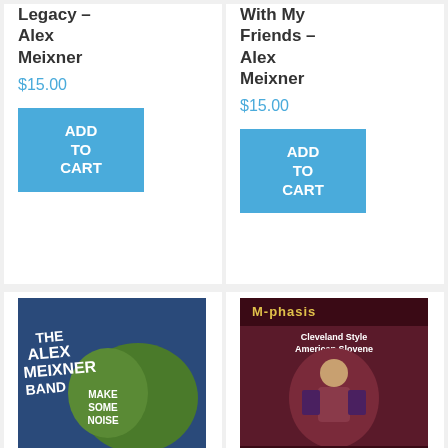Legacy – Alex Meixner
$15.00
ADD TO CART
With My Friends – Alex Meixner
$15.00
ADD TO CART
[Figure (photo): Album cover for Make Some Noise by Alex Meixner Band – shows The Alex Meixner Band text with green and blue illustrated design]
CD – Make Some Noise – Alex Meixner Band
[Figure (photo): Album cover for M-phasis – Cleveland Style American Slovene featuring Al Meixner – dark red/maroon background with musician illustration]
CD – M-phasis – Al Meixner
$15.00